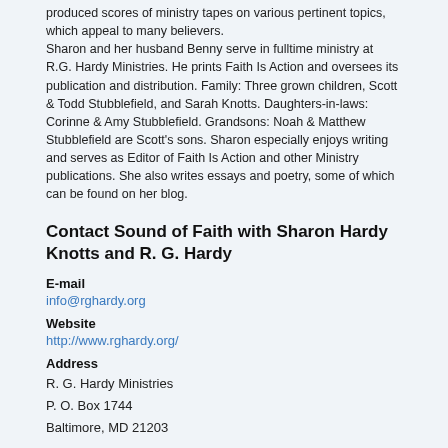produced scores of ministry tapes on various pertinent topics, which appeal to many believers. Sharon and her husband Benny serve in fulltime ministry at R.G. Hardy Ministries. He prints Faith Is Action and oversees its publication and distribution. Family: Three grown children, Scott & Todd Stubblefield, and Sarah Knotts. Daughters-in-laws: Corinne & Amy Stubblefield. Grandsons: Noah & Matthew Stubblefield are Scott's sons. Sharon especially enjoys writing and serves as Editor of Faith Is Action and other Ministry publications. She also writes essays and poetry, some of which can be found on her blog.
Contact Sound of Faith with Sharon Hardy Knotts and R. G. Hardy
E-mail
info@rghardy.org
Website
http://www.rghardy.org/
Address
R. G. Hardy Ministries
P. O. Box 1744
Baltimore, MD 21203
Telephone